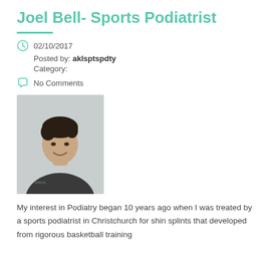Joel Bell- Sports Podiatrist
02/10/2017
Posted by: aklsptspdty
Category:
No Comments
[Figure (photo): Portrait photo of Joel Bell, a young man with dark hair wearing a dark grey ASICS polo shirt, smiling, against a light background.]
My interest in Podiatry began 10 years ago when I was treated by a sports podiatrist in Christchurch for shin splints that developed from rigorous basketball training